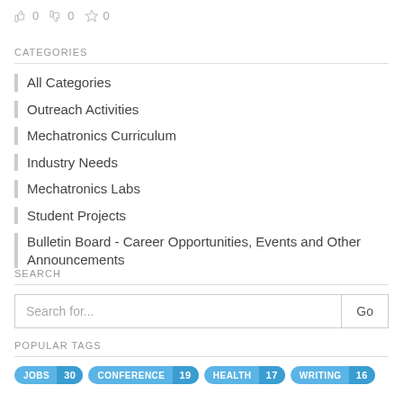👍 0  👎 0  ☆ 0
CATEGORIES
All Categories
Outreach Activities
Mechatronics Curriculum
Industry Needs
Mechatronics Labs
Student Projects
Bulletin Board - Career Opportunities, Events and Other Announcements
SEARCH
Search for...
POPULAR TAGS
JOBS 30  CONFERENCE 19  HEALTH 17  WRITING 16